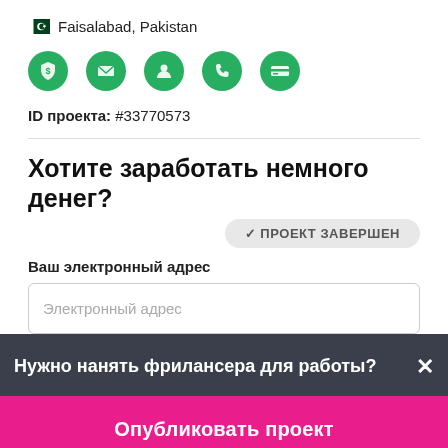Faisalabad, Pakistan
[Figure (infographic): Five green circular icons: shield with dollar sign, envelope, person, phone, credit card]
ID проекта: #33770573
Хотите заработать немного денег?
✓ ПРОЕКТ ЗАВЕРШЕН
Ваш электронный адрес
Электронный адрес
Нужно нанять фрилансера для работы?×
Опубликовать проект